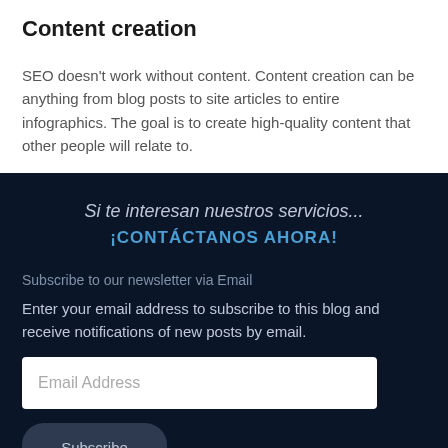Content creation
SEO doesn't work without content. Content creation can be anything from blog posts to site articles to entire infographics. The goal is to create high-quality content that other people will relate to.
Si te interesan nuestros servicios...
¡CONTÁCTANOS AHORA!
Subscribe to our newsletter via Email
Enter your email address to subscribe to this blog and receive notifications of new posts by email.
Email Address
Subscribe